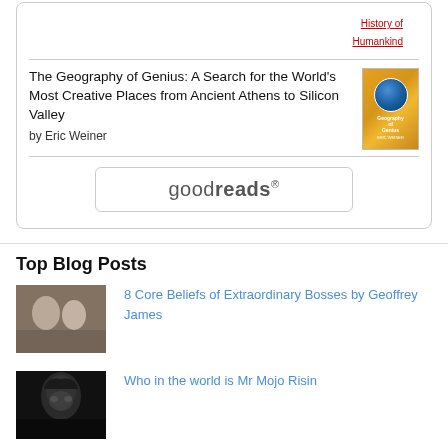[Figure (illustration): Book listing card with title, author, and book cover image for 'The Geography of Genius' by Eric Weiner, plus a Goodreads button]
The Geography of Genius: A Search for the World's Most Creative Places from Ancient Athens to Silicon Valley
by Eric Weiner
Top Blog Posts
[Figure (photo): Thumbnail photo for blog post about 8 Core Beliefs of Extraordinary Bosses - people in an indoor setting]
8 Core Beliefs of Extraordinary Bosses by Geoffrey James
[Figure (photo): Thumbnail black and white portrait photo for blog post about Mr Mojo Risin]
Who in the world is Mr Mojo Risin